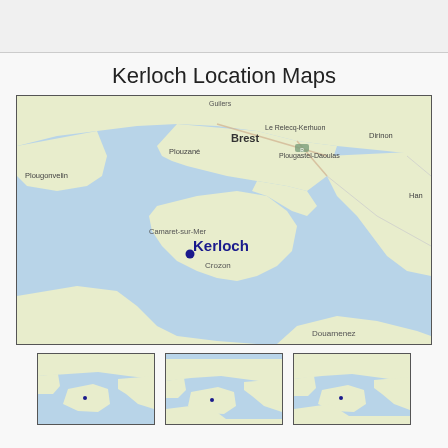Kerloch Location Maps
[Figure (map): Map showing Kerloch location near Camaret-sur-Mer and Crozon, with Brest visible to the north, and surrounding Brittany coastal region. A dark blue dot marks Kerloch with bold blue label. Other labels include Plouzané, Plougonvelin, Le Relecq-Kerhuon, Dirinon, Plougastel-Daoulas, Camaret-sur-Mer, Crozon, Douarnenez, Han.]
[Figure (map): Small thumbnail map of Brittany coast region]
[Figure (map): Small thumbnail map of Brittany coast region]
[Figure (map): Small thumbnail map of Brittany coast region]